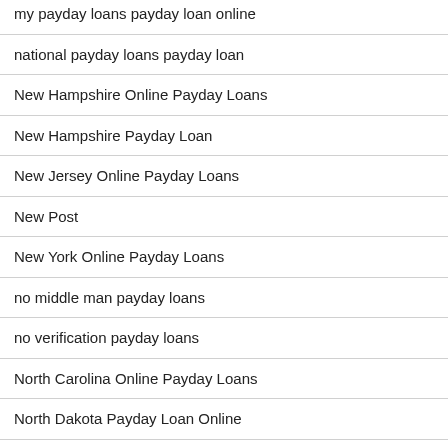my payday loans payday loan online
national payday loans payday loan
New Hampshire Online Payday Loans
New Hampshire Payday Loan
New Jersey Online Payday Loans
New Post
New York Online Payday Loans
no middle man payday loans
no verification payday loans
North Carolina Online Payday Loans
North Dakota Payday Loan Online